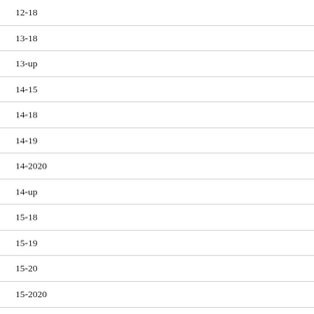12-18
13-18
13-up
14-15
14-18
14-19
14-2020
14-up
15-18
15-19
15-20
15-2020
15-2021